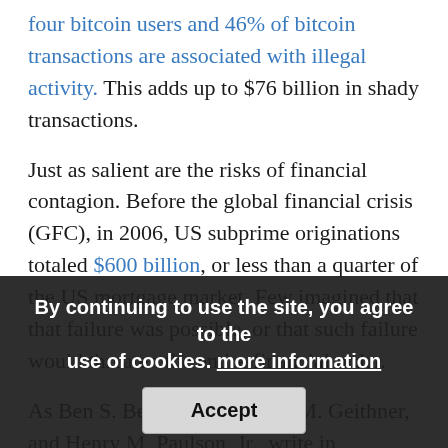four bitcoin users and 46% of bitcoin transactions are associated with illegal activity. This adds up to $76 billion in shady transactions.
Just as salient are the risks of financial contagion. Before the global financial crisis (GFC), in 2006, US subprime originations totaled $600 billion, or less than a quarter of the US mortgage market. Few imagined that that failure was possible, or that such failure would threaten the entire financial order.
As Ben S. Bernanke, Timothy M. Geithner, and Henry M. Paulson, Jr., write in Firefighting: The Financial Crisis... dangers of... system, and of the potential for an... the financial equivalent of a case of food poisoning at a local burger
By continuing to use the site, you agree to the use of cookies. more information